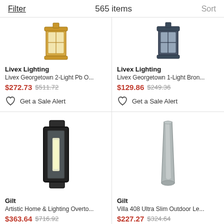Filter   565 items   Sort
[Figure (photo): Livex Georgetown 2-Light outdoor lantern with gold/brass finish, partial top view]
Livex Lighting
Livex Georgetown 2-Light Pb O...
$272.73 $511.72
Get a Sale Alert
[Figure (photo): Livex Georgetown 1-Light outdoor lantern with bronze/dark finish, partial top view]
Livex Lighting
Livex Georgetown 1-Light Bron...
$129.86 $249.36
Get a Sale Alert
[Figure (photo): Artistic Home & Lighting Overto wall sconce, dark/black rectangular outdoor light fixture with glass panel]
Gilt
Artistic Home & Lighting Overto...
$363.64 $716.92
[Figure (photo): Villa 408 Ultra Slim Outdoor wall light, slim tapered gray/silver post design]
Gilt
Villa 408 Ultra Slim Outdoor Le...
$227.27 $324.64